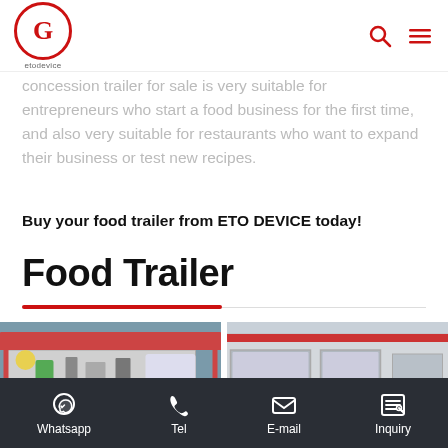ETO DEVICE logo, search and menu icons
concession trailer for sale is very suitable for entrepreneurs who start a food business for the first time, and also very suitable for restaurants who want to expand their business or test new recipes.
Buy your food trailer from ETO DEVICE today!
Food Trailer
[Figure (photo): Photo of a red open-air concession food trailer with orange/red canopy, various equipment inside, parked in a parking lot]
[Figure (photo): Photo of a larger red and silver enclosed food trailer/container unit with serving windows, parked near a building]
Whatsapp  Tel  E-mail  Inquiry